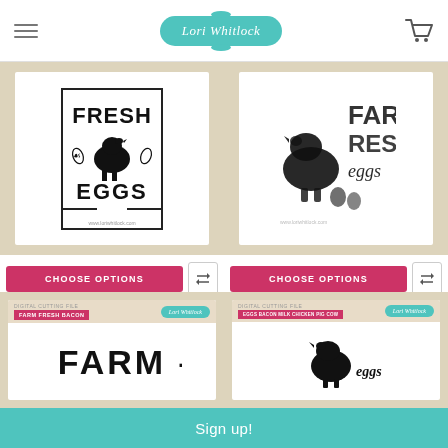Lori Whitlock — navigation header with logo and cart
[Figure (illustration): Farm Fresh Eggs 5 product image — white card with text FRESH EGGS, chicken silhouette and laurel branches, beige background]
[Figure (illustration): Farm Fresh Eggs 4 product image — white card with blurred chicken silhouette and text FARM FRESH eggs, beige background]
CHOOSE OPTIONS
CHOOSE OPTIONS
Farm Fresh Eggs 5
Farm Fresh Eggs 4
Lori Whitlock
Lori Whitlock
$1.49
$1.49
[Figure (illustration): Partial view of Farm Fresh Bacon product card — beige packaging with text FARM and pink label]
[Figure (illustration): Partial view of Eggs Bacon Milk Chicken Pig Cow product card — beige packaging with chicken and eggs silhouette]
Sign up!